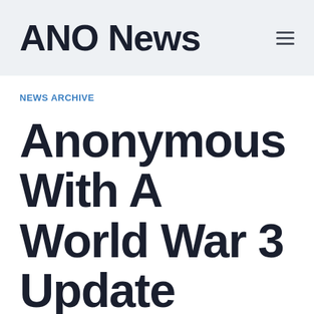ANO News
NEWS ARCHIVE
Anonymous With A World War 3 Update
By News Team · February 4, 2017